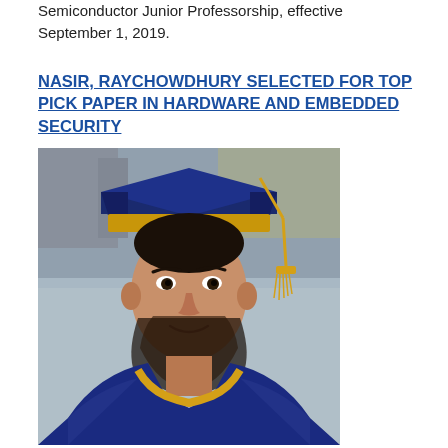Semiconductor Junior Professorship, effective September 1, 2019.
NASIR, RAYCHOWDHURY SELECTED FOR TOP PICK PAPER IN HARDWARE AND EMBEDDED SECURITY
[Figure (photo): Portrait photo of a man wearing a blue and gold doctoral graduation cap and gown, standing outdoors.]